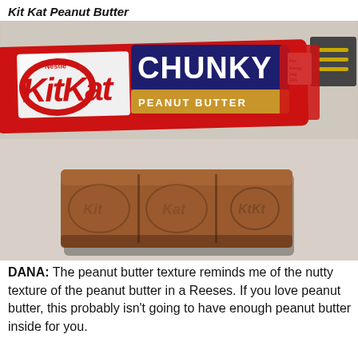Kit Kat Peanut Butter
[Figure (photo): Photo of a Kit Kat Chunky Peanut Butter chocolate bar wrapper (red, blue, and tan) at the top, and the unwrapped three-segment chocolate bar below, on a white textured fabric surface.]
DANA: The peanut butter texture reminds me of the nutty texture of the peanut butter in a Reeses. If you love peanut butter, this probably isn't going to have enough peanut butter inside for you.